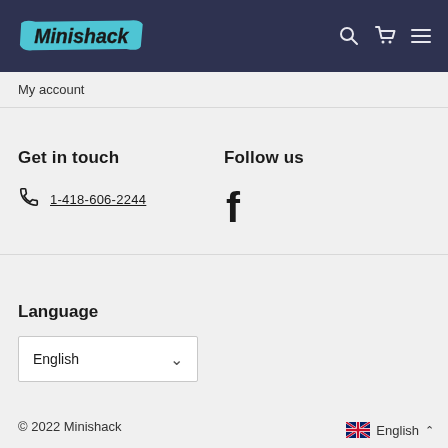Minishack
My account
Get in touch
1-418-606-2244
Follow us
[Figure (logo): Facebook logo icon]
Language
English
© 2022 Minishack